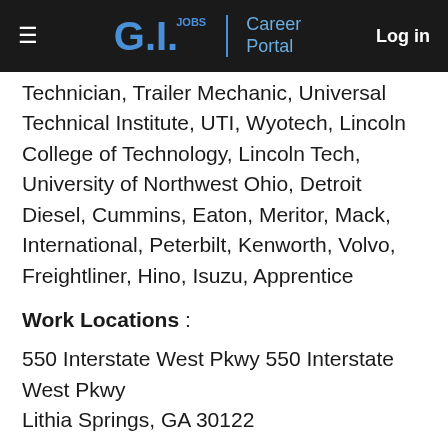G.I. Jobs | Career Portal   Log in
Technician, Trailer Mechanic, Universal Technical Institute, UTI, Wyotech, Lincoln College of Technology, Lincoln Tech, University of Northwest Ohio, Detroit Diesel, Cummins, Eaton, Meritor, Mack, International, Peterbilt, Kenworth, Volvo, Freightliner, Hino, Isuzu, Apprentice
Work Locations :
550 Interstate West Pkwy 550 Interstate West Pkwy
Lithia Springs, GA 30122